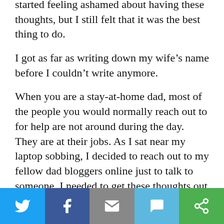started feeling ashamed about having these thoughts, but I still felt that it was the best thing to do.
I got as far as writing down my wife’s name before I couldn’t write anymore.
When you are a stay-at-home dad, most of the people you would normally reach out to for help are not around during the day. They are at their jobs. As I sat near my laptop sobbing, I decided to reach out to my fellow dad bloggers online just to talk to someone. I needed to get these thoughts out of my head.
As soon as I hit the navy blue “Post” button, they started messaging me. A few sent me the
Twitter | Facebook | Email | SMS | Other